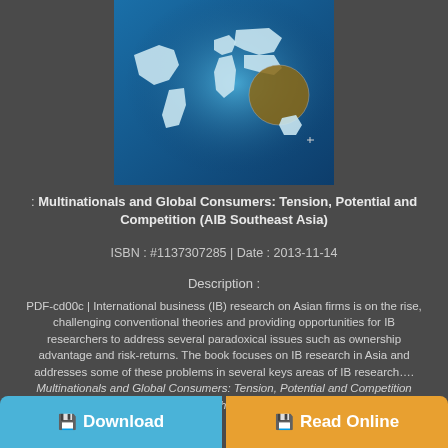[Figure (illustration): Book cover showing a world map on a blue gradient background with a globe highlight over the Asia-Pacific region]
: Multinationals and Global Consumers: Tension, Potential and Competition (AIB Southeast Asia)
ISBN : #1137307285 | Date : 2013-11-14
Description :
PDF-cd00c | International business (IB) research on Asian firms is on the rise, challenging conventional theories and providing opportunities for IB researchers to address several paradoxical issues such as ownership advantage and risk-returns. The book focuses on IB research in Asia and addresses some of these problems in several keys areas of IB research.... Multinationals and Global Consumers: Tension, Potential and Competition (AIB Southeast Asia)
[Figure (infographic): Two buttons at bottom: blue Download button on left, orange Read Online button on right]